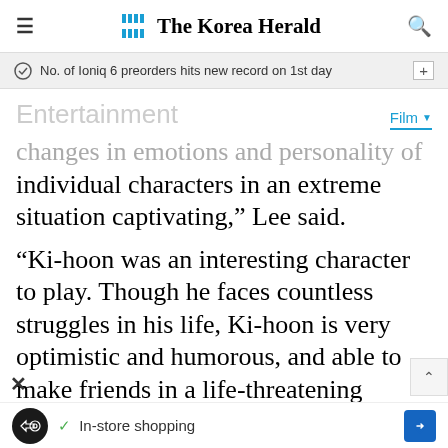The Korea Herald
No. of Ioniq 6 preorders hits new record on 1st day
Entertainment
Film
changes in emotions and personality of individual characters in an extreme situation captivating,” Lee said.
“Ki-hoon was an interesting character to play. Though he faces countless struggles in his life, Ki-hoon is very optimistic and humorous, and able to make friends in a life-threatening survival game. I was surprised to see how I